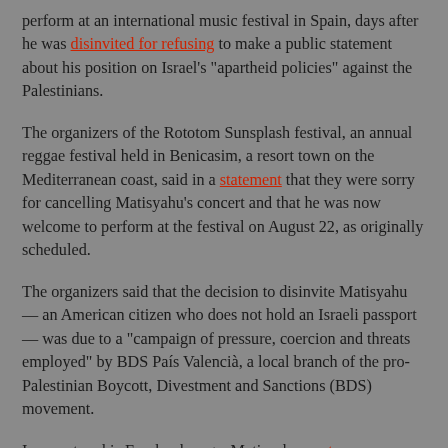perform at an international music festival in Spain, days after he was disinvited for refusing to make a public statement about his position on Israel's "apartheid policies" against the Palestinians.
The organizers of the Rototom Sunsplash festival, an annual reggae festival held in Benicasim, a resort town on the Mediterranean coast, said in a statement that they were sorry for cancelling Matisyahu's concert and that he was now welcome to perform at the festival on August 22, as originally scheduled.
The organizers said that the decision to disinvite Matisyahu — an American citizen who does not hold an Israeli passport — was due to a "campaign of pressure, coercion and threats employed" by BDS País Valencià, a local branch of the pro-Palestinian Boycott, Divestment and Sanctions (BDS) movement.
In a post on his Facebook page, Matisyahu wrote:
"The festival organizers contacted me because they were getting pressure from the BDS movement. They wanted me to write a letter, or make a video, stating my positions on Zionism and the Israeli-Palestinian